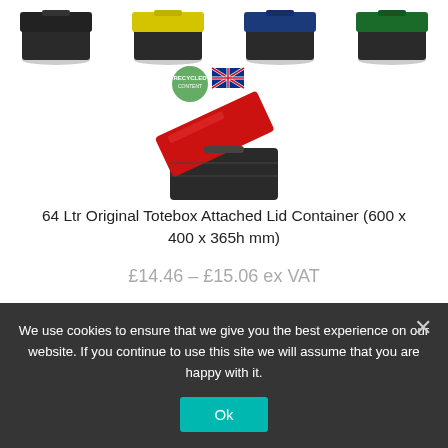[Figure (photo): Row of four dark plastic attached-lid storage containers (tote boxes) with different colored lids (black, yellow, blue, green) shown at top of page, partially cropped]
[Figure (photo): Single dark plastic attached-lid container (tote box) with red lid open, shown with a recycled/eco badge and UK flag badge above it]
64 Ltr Original Totebox Attached Lid Container (600 x 400 x 365h mm)
£14.46 – £15.06 ex VAT
We use cookies to ensure that we give you the best experience on our website. If you continue to use this site we will assume that you are happy with it.